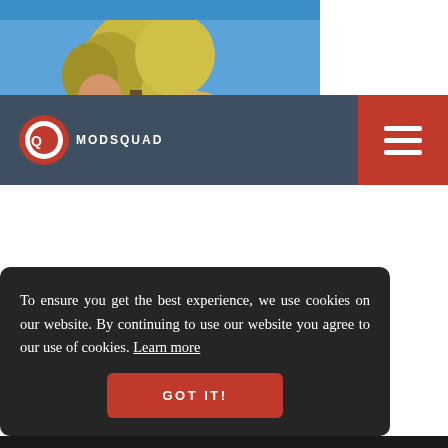[Figure (screenshot): Website screenshot of ModSquad. Top section shows a photo of two people in costumes (Doctor Who themed - one in suit with badge, one in blue TARDIS dress) outdoors with cars and trees visible. Navigation bar with ModSquad logo (red circle Q) on dark blue-grey background and red hamburger menu button on right. A cookie consent banner overlay on the bottom portion reads 'To ensure you get the best experience, we use cookies on our website. By continuing to use our website you agree to our use of cookies. Learn more' with a red GOT IT! button.]